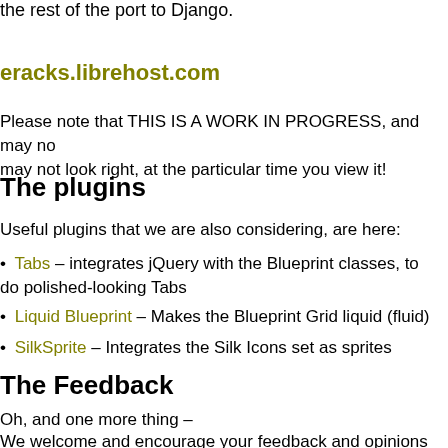the rest of the port to Django.
eracks.librehost.com
Please note that THIS IS A WORK IN PROGRESS, and may not look right, at the particular time you view it!
The plugins
Useful plugins that we are also considering, are here:
Tabs – integrates jQuery with the Blueprint classes, to do polished-looking Tabs
Liquid Blueprint – Makes the Blueprint Grid liquid (fluid)
SilkSprite – Integrates the Silk Icons set as sprites
The Feedback
Oh, and one more thing –
We welcome and encourage your feedback and opinions on either site, or on the above review of CSS Frameworks and our decision